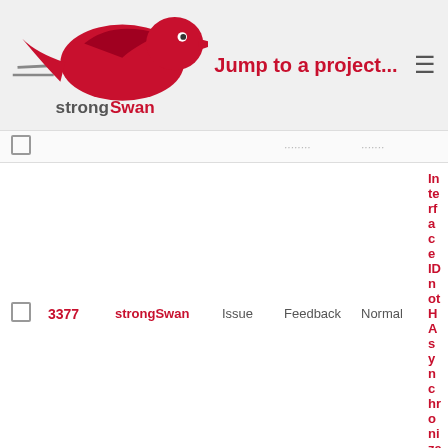strongSwan — Jump to a project...
|  | # | Project | Tracker | Status | Priority | Subject |
| --- | --- | --- | --- | --- | --- | --- |
|  | 3377 | strongSwan | Issue | Feedback | Normal | Interface ID not HA synchroniza... |
|  | 3366 | strongSwan | Issue | Feedback | Normal | Uninstall "any" t start_action=tra... used |
|  | 3342 | strongSwan | Issue | Feedback | Normal | Certain fields in Firestick4K are ... |
|  | 3341 | strongSwan | Bug | Feedback | Normal | Application Icon 4K |
|  | 3326 | strongSwan | Issue | New | Normal | update custom n 220 by default) w new networks a... |
|  | 3307 | strongSwan | Issue | Feedback | Normal | Probable non co 7296 wrt traffic s... |
|  | 3304 | strongSwan | Issue | Feedback | Normal | Found unsuppo extension: X509... |
|  | 3298 | strongSwan | Issue | New | Normal | strategies to im performance pe... |